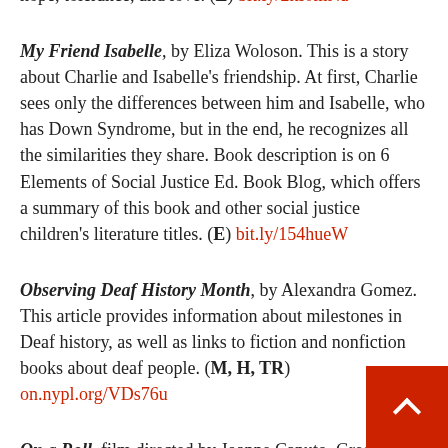hope, tolerance, and love. (E) bit.ly/2kI0mNa
My Friend Isabelle, by Eliza Woloson. This is a story about Charlie and Isabelle's friendship. At first, Charlie sees only the differences between him and Isabelle, who has Down Syndrome, but in the end, he recognizes all the similarities they share. Book description is on 6 Elements of Social Justice Ed. Book Blog, which offers a summary of this book and other social justice children's literature titles. (E) bit.ly/154hueW
Observing Deaf History Month, by Alexandra Gomez. This article provides information about milestones in Deaf history, as well as links to fiction and nonfiction books about deaf people. (M, H, TR) on.nypl.org/VDs76u
On a Roll, film directed by Joanne Caputo. Greg Smith is a talk radio host, father, son and activist. In this film, he reveals the challenges he